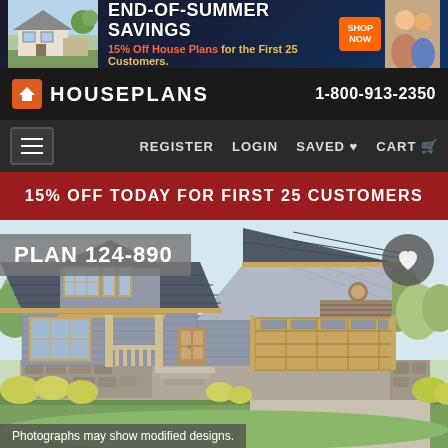[Figure (screenshot): Banner advertisement for end-of-summer savings on house plans. Shows a house photo on the left, text 'END-OF-SUMMER SAVINGS 15% Off House Plans for the First 25 Customers', a Shop Now button, and a couple image on the right.]
HOUSEPLANS   1-800-913-2350
REGISTER   LOGIN   SAVED ♥   CART 🛒
15% OFF TODAY FOR FIRST 25 CUSTOMERS
PLAN 124-890
[Figure (illustration): Color architectural illustration of a craftsman-style single-story house with attached garage, dormer windows, front porch, stone accents, and surrounding landscaping.]
Photographs may show modified designs.